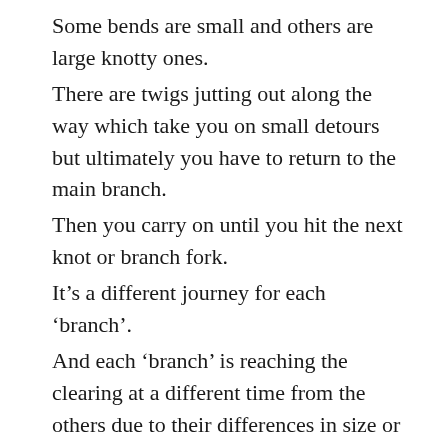Some bends are small and others are large knotty ones. There are twigs jutting out along the way which take you on small detours but ultimately you have to return to the main branch. Then you carry on until you hit the next knot or branch fork. It’s a different journey for each ‘branch’. And each ‘branch’ is reaching the clearing at a different time from the others due to their differences in size or length. These differences equate to our processing abilities and other outside influences which divert us along the way. My own journey was incredibly intense for the first 3.5 years.